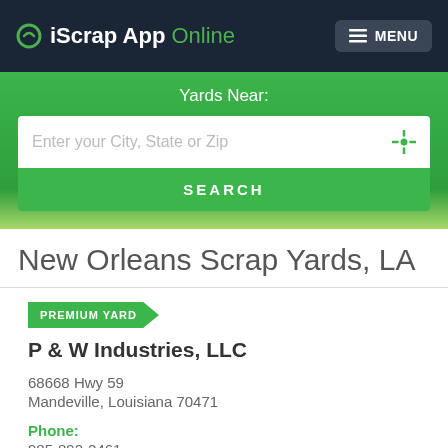iScrap App Online | MENU
Yards Near:
Enter your City, State or Zip
SEARCH
New Orleans Scrap Yards, LA
PREMIUM YARD
P & W Industries, LLC
68668 Hwy 59
Mandeville, Louisiana 70471
Phone:
985-892-2461